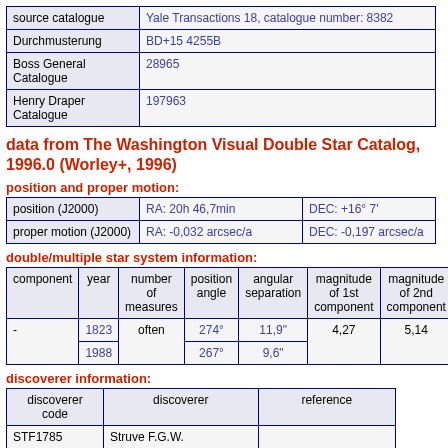|  |  |
| --- | --- |
| source catalogue | Yale Transactions 18, catalogue number: 8382 |
| Durchmusterung | BD+15 4255B |
| Boss General Catalogue | 28965 |
| Henry Draper Catalogue | 197963 |
data from The Washington Visual Double Star Catalog, 1996.0 (Worley+, 1996)
position and proper motion:
|  |  |  |
| --- | --- | --- |
| position (J2000) | RA: 20h 46,7min | DEC: +16° 7' |
| proper motion (J2000) | RA: -0,032 arcsec/a | DEC: -0,197 arcsec/a |
double/multiple star system information:
| component | year | number of measures | position angle | angular separation | magnitude of 1st component | magnitude of 2nd component | spectral class(es) |
| --- | --- | --- | --- | --- | --- | --- | --- |
| - | 1823 | often | 274° | 11,9" | 4,27 | 5,14 | K1IV |
|  | 1988 |  | 267° | 9,6" |  |  | F7V |
discoverer information:
| discoverer code | discoverer | reference |
| --- | --- | --- |
| STF1785 | Struve F.G.W. |  |